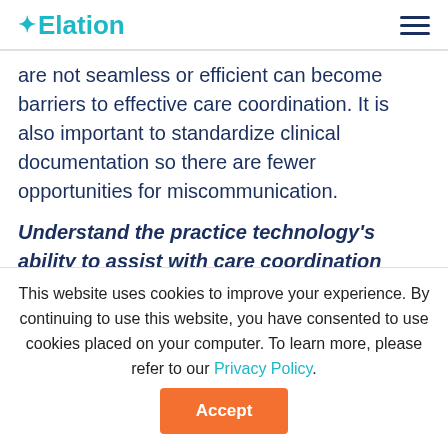Elation
are not seamless or efficient can become barriers to effective care coordination. It is also important to standardize clinical documentation so there are fewer opportunities for miscommunication.
Understand the practice technology's ability to assist with care coordination activities. Assess technology capabilities to understand whether it is appropriate for sharing information, tracking
This website uses cookies to improve your experience. By continuing to use this website, you have consented to use cookies placed on your computer. To learn more, please refer to our Privacy Policy.
Accept